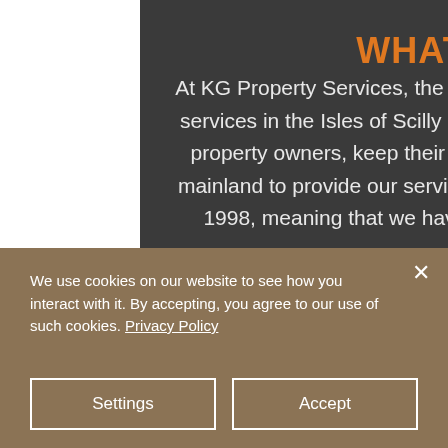WHAT DO WE DO?
At KG Property Services, the question is, what don't we do? Our handyman services in the Isles of Scilly have been helping residents, and commercial property owners, keep their property looking at its best. Our team on the mainland to provide our services nationwide. The company was founded in 1998, meaning that we have over 30 years of experience! Over those
We use cookies on our website to see how you interact with it. By accepting, you agree to our use of such cookies. Privacy Policy
Settings
Accept